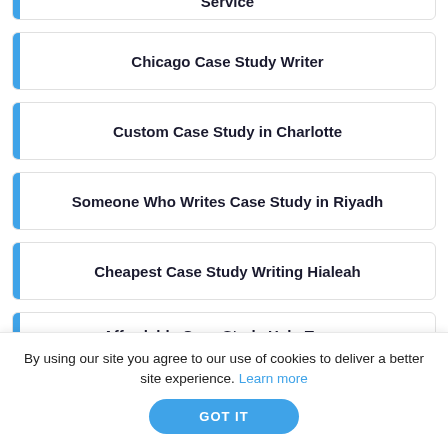Service
Chicago Case Study Writer
Custom Case Study in Charlotte
Someone Who Writes Case Study in Riyadh
Cheapest Case Study Writing Hialeah
Affordable Case Study Help Tampa
By using our site you agree to our use of cookies to deliver a better site experience. Learn more
GOT IT